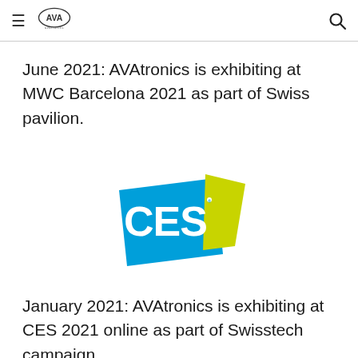AVAtronics navigation header
June 2021: AVAtronics is exhibiting at MWC Barcelona 2021 as part of Swiss pavilion.
[Figure (logo): CES logo — blue parallelogram with white letters 'CES' and a yellow-green triangle accent on the right]
January 2021: AVAtronics is exhibiting at CES 2021 online as part of Swisstech campaign.